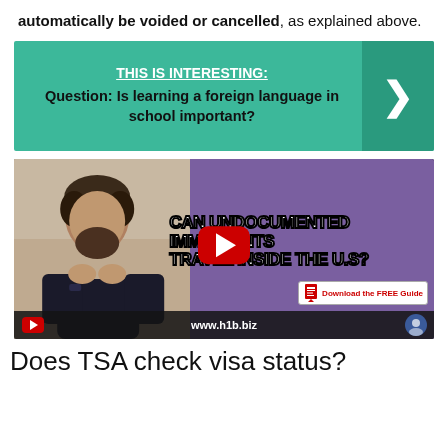automatically be voided or cancelled, as explained above.
[Figure (infographic): Green banner with 'THIS IS INTERESTING:' heading and text 'Question: Is learning a foreign language in school important?' with a right-arrow chevron on the right side]
[Figure (screenshot): YouTube video thumbnail showing a man with beard and text 'CAN UNDOCUMENTED IMMIGRANTS TRAVEL INSIDE THE U.S?' with YouTube play button, www.h1b.biz URL, and 'Download the FREE Guide' badge]
Does TSA check visa status?